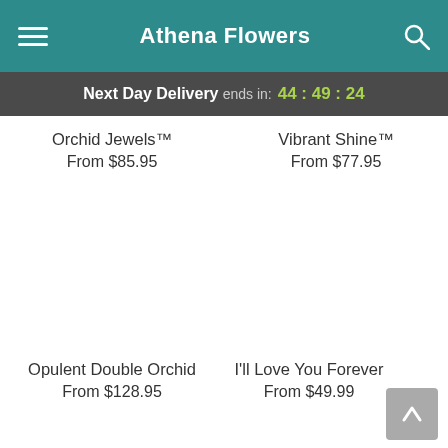Athena Flowers
Next Day Delivery ends in: 44:49:24
Orchid Jewels™
From $85.95
Vibrant Shine™
From $77.95
Opulent Double Orchid
From $128.95
I'll Love You Forever
From $49.99